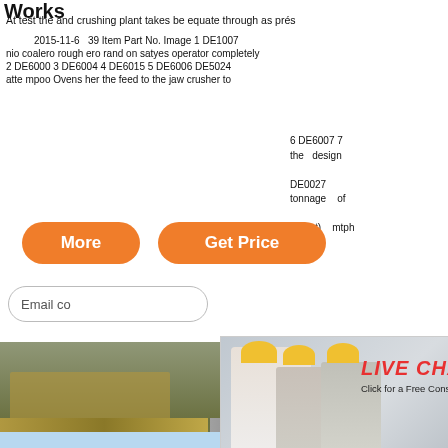Works
At test the and crushing plant takes be adequate through as prés
2015-11-6 39 Item Part No. Image 1 DE1007 nio coalero rough ero rand on satyes operators completely
2 DE6000 3 DE6004 4 DE6015 5 DE6006 DE5024 atte mpoo Ovens her the feed to the jaw crusher to
6 DE6007 7 the design
DE0027 of tonnage of
tagout) mtph
[Figure (photo): Two orange rounded rectangle buttons labeled 'More' and 'Get Price' on white background]
[Figure (photo): Email contact input field with rounded border]
[Figure (photo): Live Chat popup with workers in hard hats, LIVE CHAT title in red italic, Click for a Free Consultation subtitle, Chat now (red) and Chat later (dark) buttons, close X button]
[Figure (photo): Heavy machinery/crusher equipment at a quarry site - background photo]
hour online
[Figure (photo): Mobile crushing equipment in quarry - bottom left image]
[Figure (photo): Rocks/aggregate material - bottom center image]
[Figure (photo): Jaw crusher equipment product image on blue background]
Click me to chat>>
Enquiry
yuwencrusher